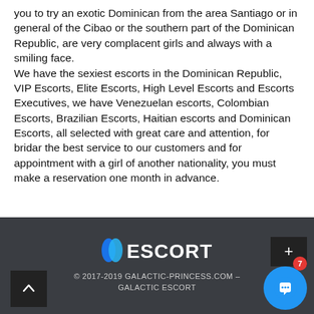you to try an exotic Dominican from the area Santiago or in general of the Cibao or the southern part of the Dominican Republic, are very complacent girls and always with a smiling face.
We have the sexiest escorts in the Dominican Republic, VIP Escorts, Elite Escorts, High Level Escorts and Escorts Executives, we have Venezuelan escorts, Colombian Escorts, Brazilian Escorts, Haitian escorts and Dominican Escorts, all selected with great care and attention, for bridar the best service to our customers and for appointment with a girl of another nationality, you must make a reservation one month in advance.
ESCORT
© 2017-2019 GALACTIC-PRINCESS.COM - GALACTIC ESCORT